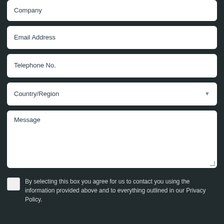Company
Email Address
Telephone No.
Country/Region
Message
By selecting this box you agree for us to contact you using the information provided above and to everything outlined in our Privacy Policy.